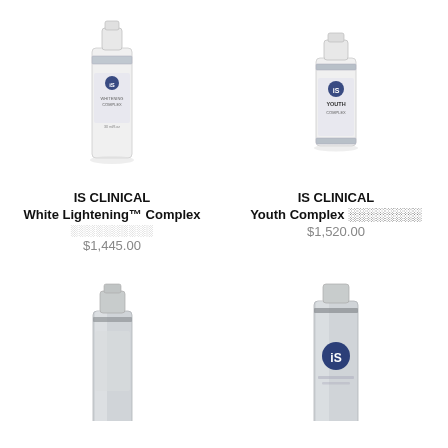[Figure (photo): IS CLINICAL White Lightening Complex product bottle - white/silver tall pump bottle]
IS CLINICAL
White Lightening™ Complex
░░░░░░░░░░
$1,445.00
[Figure (photo): IS CLINICAL Youth Complex product bottle - white compact bottle with blue logo]
IS CLINICAL
Youth Complex ░░░░░░░░
$1,520.00
[Figure (photo): IS CLINICAL product bottle - silver/chrome bottle, partially visible at bottom]
[Figure (photo): IS CLINICAL product bottle - silver bottle with blue logo, partially visible at bottom]